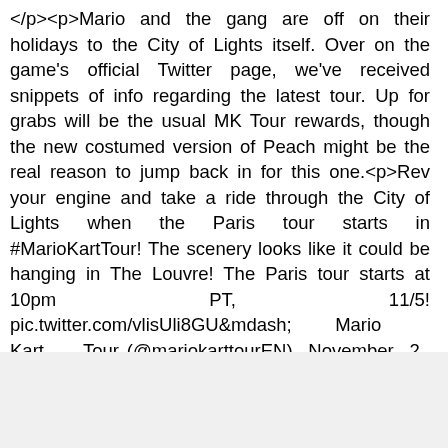</p><p>Mario and the gang are off on their holidays to the City of Lights itself. Over on the game's official Twitter page, we've received snippets of info regarding the latest tour. Up for grabs will be the usual MK Tour rewards, though the new costumed version of Peach might be the real reason to jump back in for this one.<p>Rev your engine and take a ride through the City of Lights when the Paris tour starts in #MarioKartTour! The scenery looks like it could be hanging in The Louvre! The Paris tour starts at 10pm PT, 11/5! pic.twitter.com/vlisUli8GU&mdash; Mario Kart Tour (@mariokarttourEN) November 2, 2019It was announced last week that multiplayer will soon be coming to Mario K